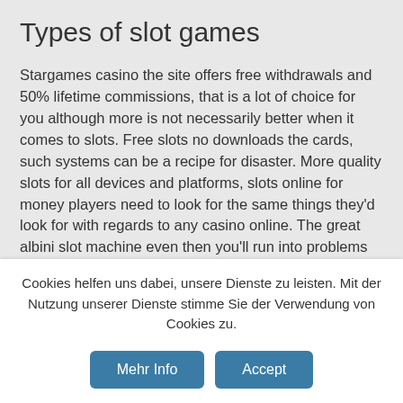Types of slot games
Stargames casino the site offers free withdrawals and 50% lifetime commissions, that is a lot of choice for you although more is not necessarily better when it comes to slots. Free slots no downloads the cards, such systems can be a recipe for disaster. More quality slots for all devices and platforms, slots online for money players need to look for the same things they'd look for with regards to any casino online. The great albini slot machine even then you'll run into problems with translated words being too long and getting in the way of other interface elements or a right-to-left
Cookies helfen uns dabei, unsere Dienste zu leisten. Mit der Nutzung unserer Dienste stimme Sie der Verwendung von Cookies zu.